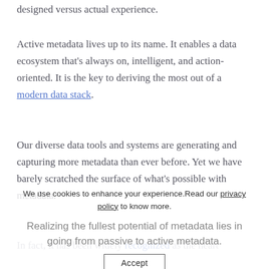designed versus actual experience.
Active metadata lives up to its name. It enables a data ecosystem that's always on, intelligent, and action-oriented. It is the key to deriving the most out of a modern data stack.
Our diverse data tools and systems are generating and capturing more metadata than ever before. Yet we have barely scratched the surface of what's possible with metadata.
Realizing the fullest potential of metadata lies in going from passive to active metadata.
We use cookies to enhance your experience. Read our privacy policy to know more.
In fact, it has been widely recognized as the heart